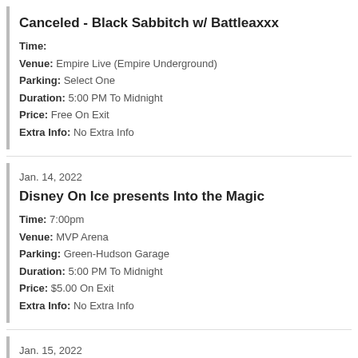Canceled - Black Sabbitch w/ Battleaxxx
Time:
Venue: Empire Live (Empire Underground)
Parking: Select One
Duration: 5:00 PM To Midnight
Price: Free On Exit
Extra Info: No Extra Info
Jan. 14, 2022
Disney On Ice presents Into the Magic
Time: 7:00pm
Venue: MVP Arena
Parking: Green-Hudson Garage
Duration: 5:00 PM To Midnight
Price: $5.00 On Exit
Extra Info: No Extra Info
Jan. 15, 2022
Disney On Ice presents Into the Magic
Time: 11:00am